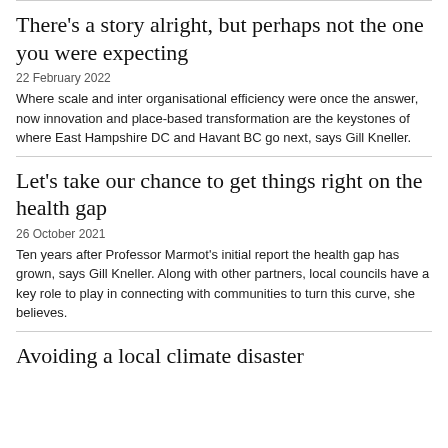There's a story alright, but perhaps not the one you were expecting
22 February 2022
Where scale and inter organisational efficiency were once the answer, now innovation and place-based transformation are the keystones of where East Hampshire DC and Havant BC go next, says Gill Kneller.
Let's take our chance to get things right on the health gap
26 October 2021
Ten years after Professor Marmot's initial report the health gap has grown, says Gill Kneller. Along with other partners, local councils have a key role to play in connecting with communities to turn this curve, she believes.
Avoiding a local climate disaster